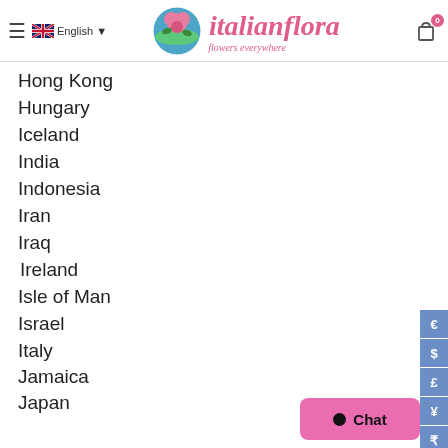italianflora - flowers everywhere
Hong Kong
Hungary
Iceland
India
Indonesia
Iran
Iraq
Ireland
Isle of Man
Israel
Italy
Jamaica
Japan
Jersey
Kazakhstan
Kenya